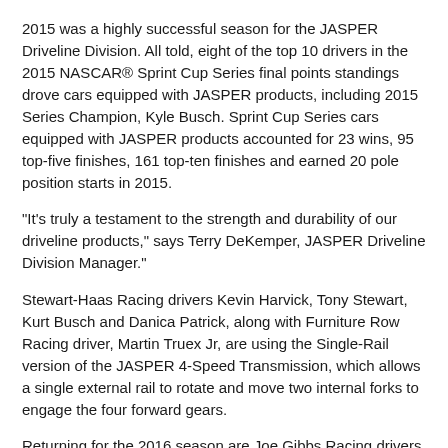2015 was a highly successful season for the JASPER Driveline Division. All told, eight of the top 10 drivers in the 2015 NASCAR® Sprint Cup Series final points standings drove cars equipped with JASPER products, including 2015 Series Champion, Kyle Busch. Sprint Cup Series cars equipped with JASPER products accounted for 23 wins, 95 top-five finishes, 161 top-ten finishes and earned 20 pole position starts in 2015.
"It's truly a testament to the strength and durability of our driveline products," says Terry DeKemper, JASPER Driveline Division Manager."
Stewart-Haas Racing drivers Kevin Harvick, Tony Stewart, Kurt Busch and Danica Patrick, along with Furniture Row Racing driver, Martin Truex Jr, are using the Single-Rail version of the JASPER 4-Speed Transmission, which allows a single external rail to rotate and move two internal forks to engage the four forward gears.
Returning for the 2016 season are Joe Gibbs Racing drivers Denny Hamlin, Kyle Busch, Carl Edwards and Matt Kenseth in the NASCAR® Sprint Cup Series, and NASCAR® Xfinity Series drivers Daniel Suarez, Erik Jones and Matt Tifft. Kyle Busch and Matt Kenseth will also be among Joe Gibbs Racing drivers in the NASCAR® Xfinity Series. Both have...